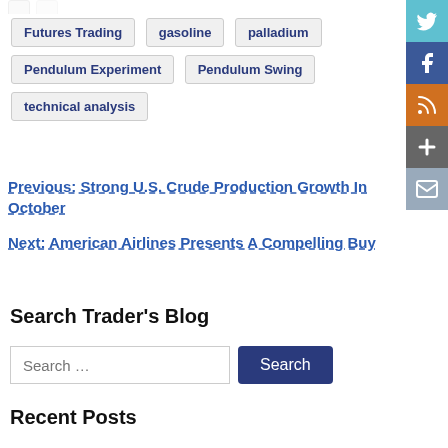Futures Trading
gasoline
palladium
Pendulum Experiment
Pendulum Swing
technical analysis
Previous: Strong U.S. Crude Production Growth In October
Next: American Airlines Presents A Compelling Buy
Search Trader's Blog
Recent Posts